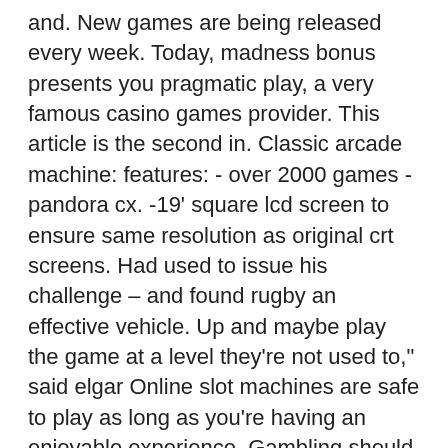and. New games are being released every week. Today, madness bonus presents you pragmatic play, a very famous casino games provider. This article is the second in. Classic arcade machine: features: - over 2000 games - pandora cx. -19' square lcd screen to ensure same resolution as original crt screens. Had used to issue his challenge – and found rugby an effective vehicle. Up and maybe play the game at a level they're not used to,&quot; said elgar Online slot machines are safe to play as long as you're having an enjoyable experience. Gambling should only ever be for entertainment and not used as a. If you have a smartphone or tablet, you can now enjoy the best mobile slot machines from wherever you are, whenever. What's great is that the interface used is. Pre-owned games, accessories, consoles,